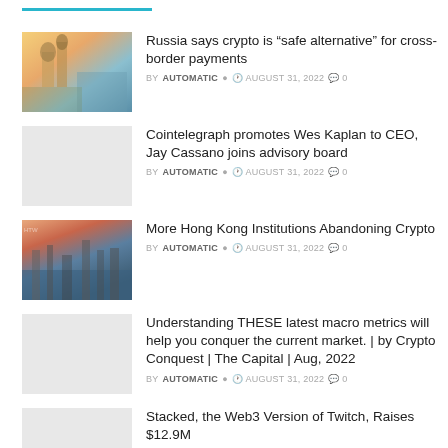Russia says crypto is “safe alternative” for cross-border payments — BY AUTOMATIC — AUGUST 31, 2022 — 0 comments
Cointelegraph promotes Wes Kaplan to CEO, Jay Cassano joins advisory board — BY AUTOMATIC — AUGUST 31, 2022 — 0 comments
More Hong Kong Institutions Abandoning Crypto — BY AUTOMATIC — AUGUST 31, 2022 — 0 comments
Understanding THESE latest macro metrics will help you conquer the current market. | by Crypto Conquest | The Capital | Aug, 2022 — BY AUTOMATIC — AUGUST 31, 2022 — 0 comments
Stacked, the Web3 Version of Twitch, Raises $12.9M